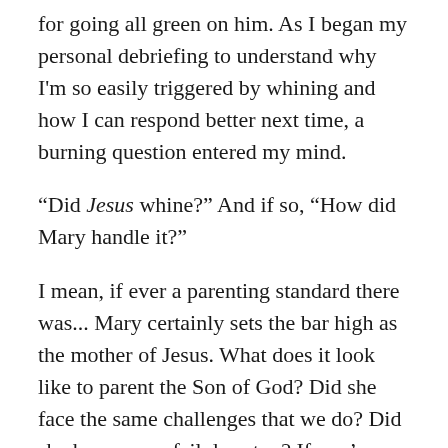for going all green on him. As I began my personal debriefing to understand why I'm so easily triggered by whining and how I can respond better next time, a burning question entered my mind.
“Did Jesus whine?” And if so, “How did Mary handle it?”
I mean, if ever a parenting standard there was... Mary certainly sets the bar high as the mother of Jesus. What does it look like to parent the Son of God? Did she face the same challenges that we do? Did she have mom-fail days too? If you’re a dad, perhaps you’re asking, “Did Joseph ever lose his cool with Jesus in the carpentry shop?”
Truth is, we don’t really know if Jesus ever whined or what his childhood behavior was like until we